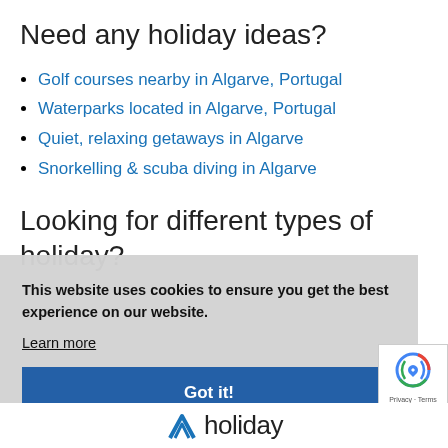Need any holiday ideas?
Golf courses nearby in Algarve, Portugal
Waterparks located in Algarve, Portugal
Quiet, relaxing getaways in Algarve
Snorkelling & scuba diving in Algarve
Looking for different types of holiday?
This website uses cookies to ensure you get the best experience on our website.
Learn more
Got it!
[Figure (logo): reCAPTCHA logo with circular arrow icon and Privacy - Terms text]
[Figure (logo): Holiday logo mark with stylized chevron and the word 'holiday']